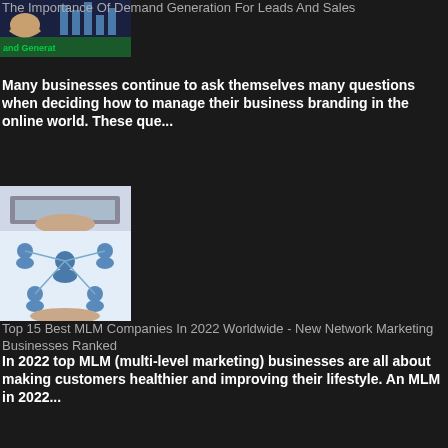[Figure (photo): Thumbnail image with 'and Generat' text visible, appears to be demand generation related graphic]
The Importance Of Demand Generation For Leads And Sales
Many businesses continue to ask themselves many questions when deciding how to manage their business branding in the online world. These que...
[Figure (photo): Thumbnail showing network of people icons connected, MLM/network marketing concept]
Top 15 Best MLM Companies In 2022 Worldwide - New Network Marketing Businesses Ranked
In 2022 top MLM (multi-level marketing) businesses are all about making customers healthier and improving their lifestyle. An MLM in 2022...
[Figure (photo): Thumbnail showing a red brick university/school building with white columns]
How To Improve Your Educational Experience
Excellent education is essential to improving your career opportunities, earnings potential, knowledge, and quality of life. You want to fin...
[Figure (photo): Partial thumbnail visible at bottom of page]